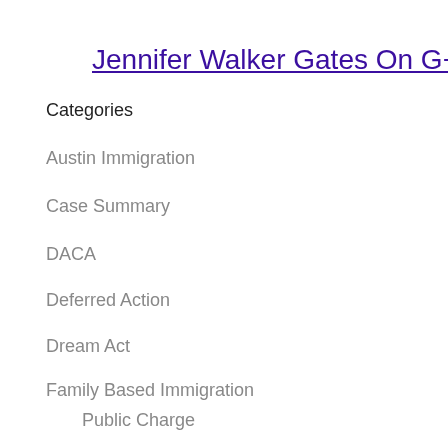Jennifer Walker Gates On G+
Categories
Austin Immigration
Case Summary
DACA
Deferred Action
Dream Act
Family Based Immigration
Public Charge
General Immigration
Immigrant Children